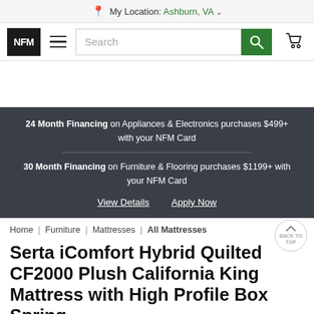My Location: Ashburn, VA
[Figure (screenshot): NFM logo navigation bar with hamburger menu, search input, and shopping cart icon]
24 Month Financing on Appliances & Electronics purchases $499+ with your NFM Card
30 Month Financing on Furniture & Flooring purchases $1199+ with your NFM Card
View Details   Apply Now
Home | Furniture | Mattresses | All Mattresses
Serta iComfort Hybrid Quilted CF2000 Plush California King Mattress with High Profile Box Spring
Add to Cart